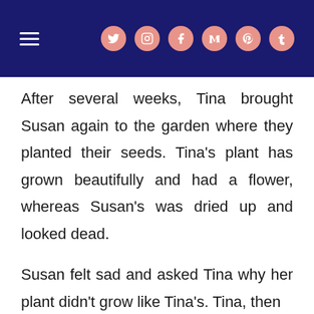≡ [social icons: twitter, instagram, facebook, medium, pinterest, tumblr]
After several weeks, Tina brought Susan again to the garden where they planted their seeds. Tina's plant has grown beautifully and had a flower, whereas Susan's was dried up and looked dead.
Susan felt sad and asked Tina why her plant didn't grow like Tina's. Tina, then